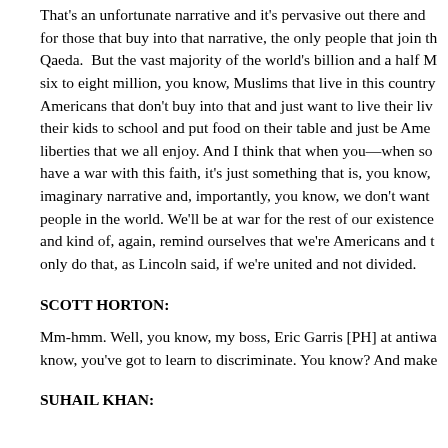That's an unfortunate narrative and it's pervasive out there and for those that buy into that narrative, the only people that join the Qaeda. But the vast majority of the world's billion and a half M six to eight million, you know, Muslims that live in this country, Americans that don't buy into that and just want to live their liv their kids to school and put food on their table and just be Ame liberties that we all enjoy. And I think that when you—when so have a war with this faith, it's just something that is, you know, imaginary narrative and, importantly, you know, we don't want people in the world. We'll be at war for the rest of our existence and kind of, again, remind ourselves that we're Americans and t only do that, as Lincoln said, if we're united and not divided.
SCOTT HORTON:
Mm-hmm. Well, you know, my boss, Eric Garris [PH] at antiwa know, you've got to learn to discriminate. You know? And make
SUHAIL KHAN: